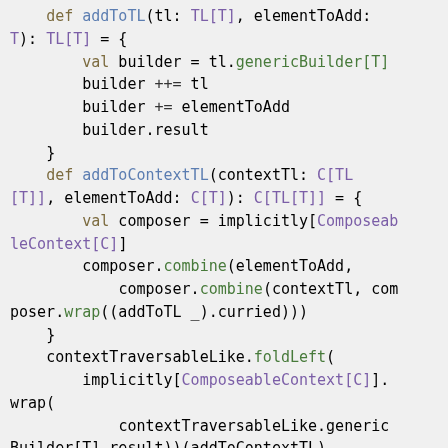[Figure (screenshot): Syntax-highlighted Scala code block showing addToTL and addToContextTL function definitions with type parameters, builder operations, and composer.combine calls.]